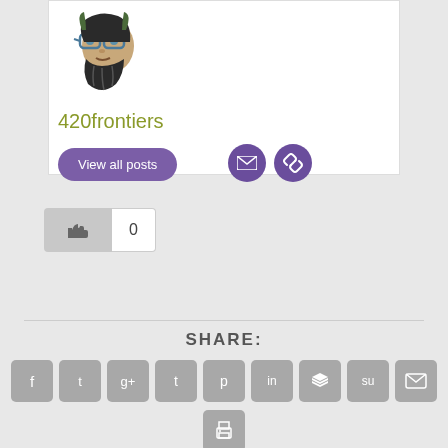[Figure (illustration): Bearded man avatar with glasses and horns illustration, user profile picture for 420frontiers]
420frontiers
View all posts
0
SHARE:
[Figure (infographic): Row of social share icon buttons: Facebook, Twitter, Google+, Tumblr, Pinterest, LinkedIn, Buffer, StumbleUpon, Email, and Print]